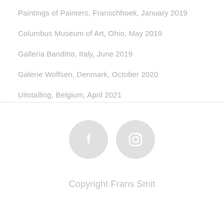Paintings of Painters, Franschhoek, January 2019
Columbus Museum of Art, Ohio, May 2019
Galleria Banditto, Italy, June 2019
Galerie Wolfsen, Denmark, October 2020
Uitstalling, Belgium, April 2021
[Figure (illustration): Two light gray circular social media icons: Facebook (f) and Instagram (camera) side by side]
Copyright Frans Smit